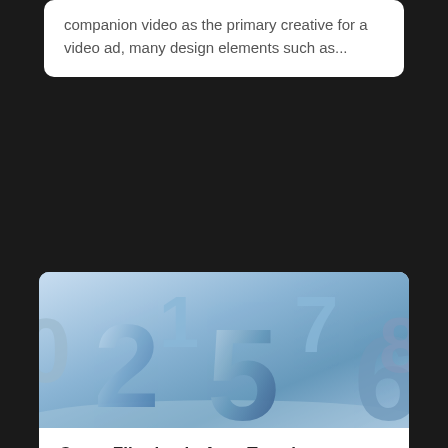companion video as the primary creative for a video ad, many design elements such as...
[Figure (photo): 3D metallic blue numbers (2, 1, 5, 7, 6, etc.) arranged on a light blue reflective surface]
Count Filtering in Auto Templates
Feb 15, 2021